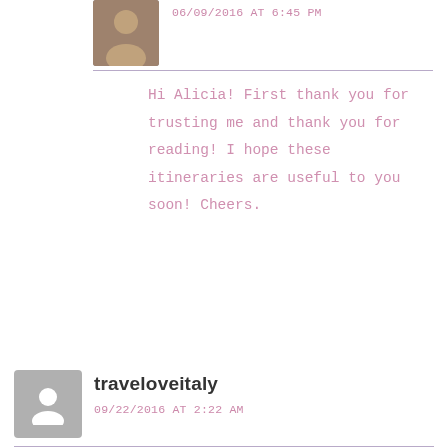06/09/2016 AT 6:45 PM
Hi Alicia! First thank you for trusting me and thank you for reading! I hope these itineraries are useful to you soon! Cheers.
traveloveitaly
09/22/2016 AT 2:22 AM
Hii,
Its a great idea to visit Venice,it is a beautiful place.Terraza is famous restaurant in the world.I really like it.